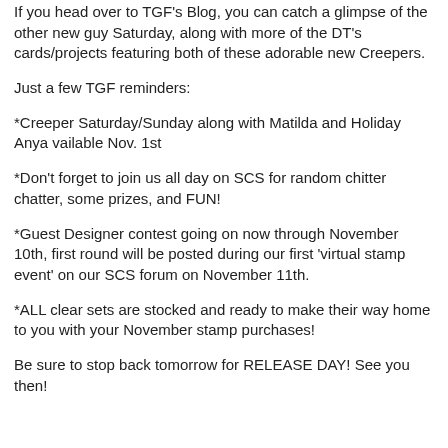If you head over to TGF's Blog, you can catch a glimpse of the other new guy Saturday, along with more of the DT's cards/projects featuring both of these adorable new Creepers.
Just a few TGF reminders:
*Creeper Saturday/Sunday along with Matilda and Holiday Anya vailable Nov. 1st
*Don't forget to join us all day on SCS for random chitter chatter, some prizes, and FUN!
*Guest Designer contest going on now through November 10th, first round will be posted during our first 'virtual stamp event' on our SCS forum on November 11th.
*ALL clear sets are stocked and ready to make their way home to you with your November stamp purchases!
Be sure to stop back tomorrow for RELEASE DAY! See you then!